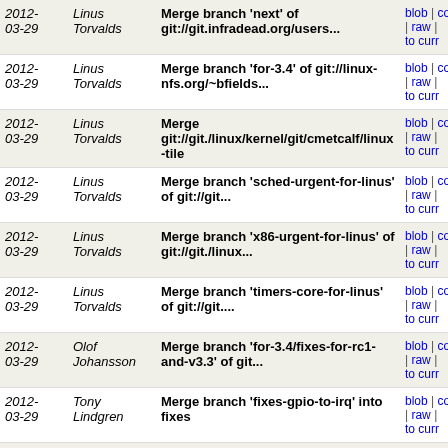| Date | Author | Message | Links |
| --- | --- | --- | --- |
| 2012-03-29 | Linus Torvalds | Merge branch 'next' of git://git.infradead.org/users... | blob | commi | raw | to curr |
| 2012-03-29 | Linus Torvalds | Merge branch 'for-3.4' of git://linux-nfs.org/~bfields... | blob | commi | raw | to curr |
| 2012-03-29 | Linus Torvalds | Merge git://git./linux/kernel/git/cmetcalf/linux-tile | blob | commi | raw | to curr |
| 2012-03-29 | Linus Torvalds | Merge branch 'sched-urgent-for-linus' of git://git... | blob | commi | raw | to curr |
| 2012-03-29 | Linus Torvalds | Merge branch 'x86-urgent-for-linus' of git://git./linux... | blob | commi | raw | to curr |
| 2012-03-29 | Linus Torvalds | Merge branch 'timers-core-for-linus' of git://git.... | blob | commi | raw | to curr |
| 2012-03-29 | Olof Johansson | Merge branch 'for-3.4/fixes-for-rc1-and-v3.3' of git... | blob | commi | raw | to curr |
| 2012-03-29 | Tony Lindgren | Merge branch 'fixes-gpio-to-irq' into fixes | blob | commi | raw | to curr |
| 2012-03-29 | Tony Lindgren | Merge branch 'fix-dss-mux' into fixes | blob | commi | raw | to curr |
| 2012-03-29 | Linus Torvalds | Merge tag 'mmc-merge-for-3.4-rc1' of git://git./linux... | blob | commi | raw | to curr |